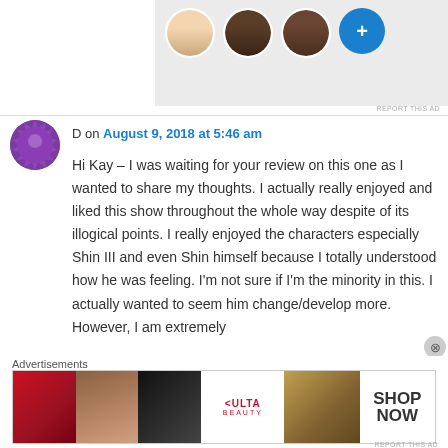[Figure (photo): Top advertisement banner with profile avatar images (face photos) and a blue plus button]
REPORT THIS AD
D on August 9, 2018 at 5:46 am
Hi Kay – I was waiting for your review on this one as I wanted to share my thoughts. I actually really enjoyed and liked this show throughout the whole way despite of its illogical points. I really enjoyed the characters especially Shin III and even Shin himself because I totally understood how he was feeling. I’m not sure if I’m the minority in this. I actually wanted to seem him change/develop more. However, I am extremely
Advertisements
[Figure (photo): ULTA beauty advertisement banner showing makeup/beauty product images with SHOP NOW call to action]